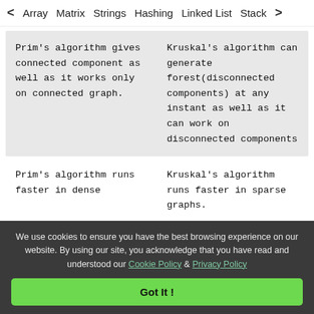< Array  Matrix  Strings  Hashing  Linked List  Stack >
| Prim's algorithm gives connected component as well as it works only on connected graph. | Kruskal's algorithm can generate forest(disconnected components) at any instant as well as it can work on disconnected components |
Prim's algorithm runs faster in dense
Kruskal's algorithm runs faster in sparse graphs.
We use cookies to ensure you have the best browsing experience on our website. By using our site, you acknowledge that you have read and understood our Cookie Policy & Privacy Policy
Got It !